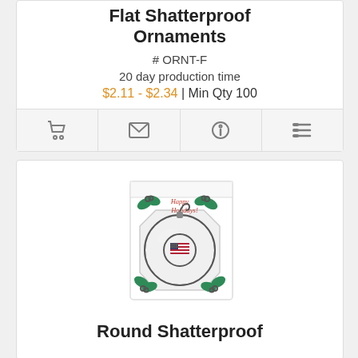Flat Shatterproof Ornaments
# ORNT-F
20 day production time
$2.11 - $2.34 | Min Qty 100
[Figure (screenshot): Icon bar with shopping cart, email, info, and list icons]
[Figure (photo): Red shatterproof ornament in white Happy Holidays gift box with holly decorations]
Round Shatterproof